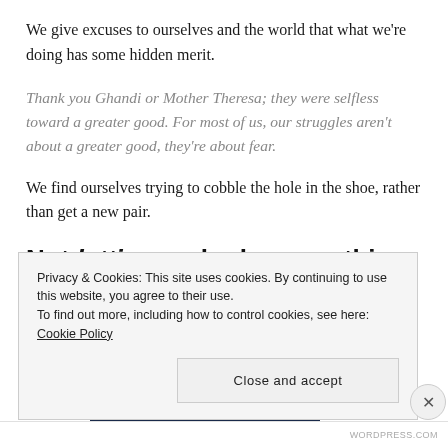We give excuses to ourselves and the world that what we're doing has some hidden merit.
Thank you Ghandi or Mother Theresa; they were selfless toward a greater good. For most of us, our struggles aren't about a greater good, they're about fear.
We find ourselves trying to cobble the hole in the shoe, rather than get a new pair.
Not letting go looks something like this:
Privacy & Cookies: This site uses cookies. By continuing to use this website, you agree to their use. To find out more, including how to control cookies, see here: Cookie Policy
Close and accept